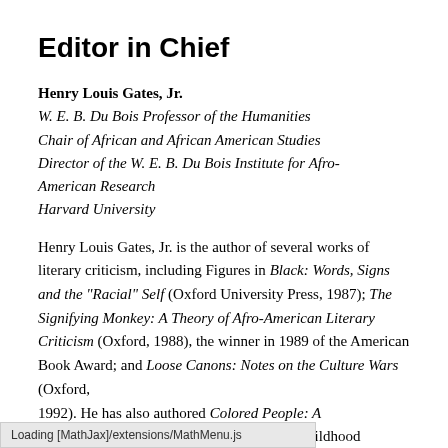Editor in Chief
Henry Louis Gates, Jr.
W. E. B. Du Bois Professor of the Humanities
Chair of African and African American Studies
Director of the W. E. B. Du Bois Institute for Afro-American Research
Harvard University
Henry Louis Gates, Jr. is the author of several works of literary criticism, including Figures in Black: Words, Signs and the "Racial" Self (Oxford University Press, 1987); The Signifying Monkey: A Theory of Afro-American Literary Criticism (Oxford, 1988), the winner in 1989 of the American Book Award; and Loose Canons: Notes on the Culture Wars (Oxford, 1992). He has also authored Colored People: A Memoir (Pantheon, 1994), which traces his childhood
Loading [MathJax]/extensions/MathMenu.js